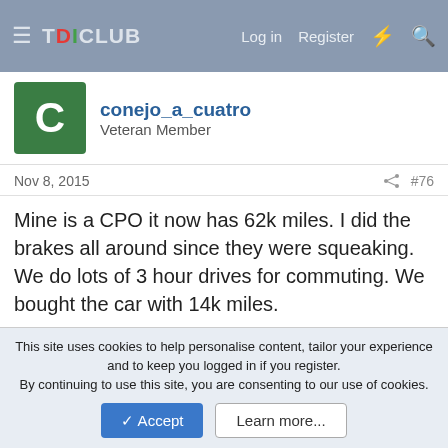TDICLUB — Log in  Register
conejo_a_cuatro
Veteran Member
Nov 8, 2015  #76
Mine is a CPO it now has 62k miles. I did the brakes all around since they were squeaking. We do lots of 3 hour drives for commuting. We bought the car with 14k miles.

When I replaced the front pads, they were obviously the second set of pads for the car, as they weren't OEM, and the rotor bolts were missing. The rotors themselves were falling apart, flaking rust everywhere. The pads were still good, looked like they replaced the pads but kept the old rotors. The rears were squeaking, still a great deal of pad left, but the corrosion seems
This site uses cookies to help personalise content, tailor your experience and to keep you logged in if you register.
By continuing to use this site, you are consenting to our use of cookies.